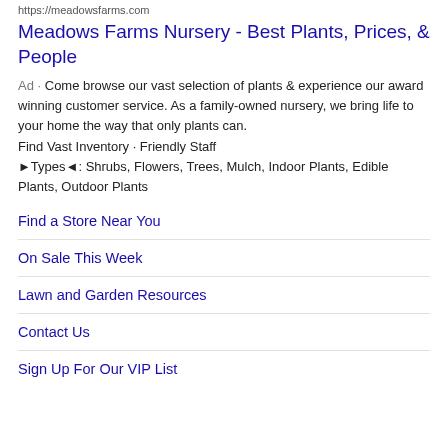https://meadowsfarms.com
Meadows Farms Nursery - Best Plants, Prices, & People
Ad · Come browse our vast selection of plants & experience our award winning customer service. As a family-owned nursery, we bring life to your home the way that only plants can.
Find Vast Inventory · Friendly Staff
►Types◄: Shrubs, Flowers, Trees, Mulch, Indoor Plants, Edible Plants, Outdoor Plants
Find a Store Near You
On Sale This Week
Lawn and Garden Resources
Contact Us
Sign Up For Our VIP List